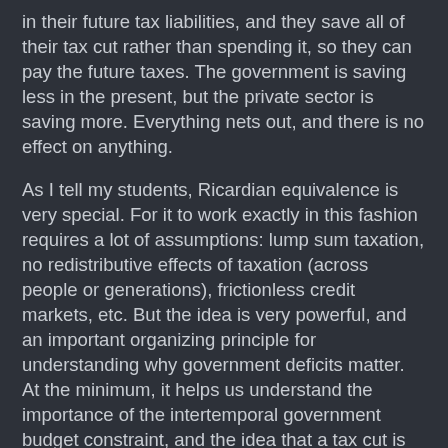in their future tax liabilities, and they save all of their tax cut rather than spending it, so they can pay the future taxes. The government is saving less in the present, but the private sector is saving more. Everything nets out, and there is no effect on anything.
As I tell my students, Ricardian equivalence is very special. For it to work exactly in this fashion requires a lot of assumptions: lump sum taxation, no redistributive effects of taxation (across people or generations), frictionless credit markets, etc. But the idea is very powerful, and an important organizing principle for understanding why government deficits matter. At the minimum, it helps us understand the importance of the intertemporal government budget constraint, and the idea that a tax cut is not a free lunch.
What are the typical criticisms of Ricardian equivalence?
1. This is too complicated. The average consumer is never going to figure it out. According to this line of argument, consumers will see a tax cut, incorrectly infer that their lifetime wealth has increased, and we can therefore trick